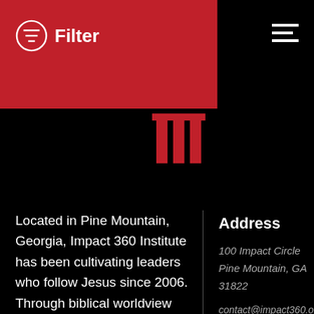Filter
[Figure (illustration): Building/columns icon in red, partially visible at top center-left area]
Located in Pine Mountain, Georgia, Impact 360 Institute has been cultivating leaders who follow Jesus since 2006. Through biblical worldview education, community-based discipleship, leadership coaching, vocational mentoring, and missional opportunities, students are equipped to live as change-agents in the world. Impact 360 Institute serves High
Address
100 Impact Circle
Pine Mountain, GA 31822
contact@impact360.org
Phone
706.705.0080